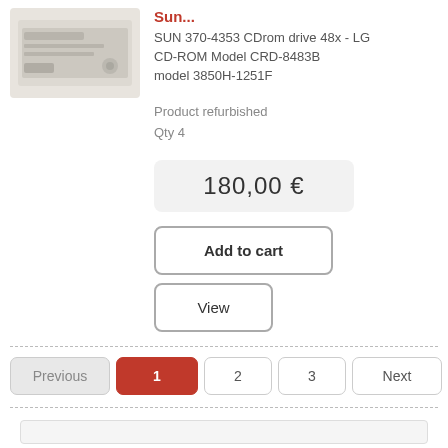[Figure (photo): Photo of a SUN CD-ROM drive, beige/cream colored external drive unit]
Sun...
SUN 370-4353 CDrom drive 48x - LG CD-ROM Model CRD-8483B model 3850H-1251F
Product refurbished
Qty 4
180,00 €
Add to cart
View
Previous  1  2  3  Next